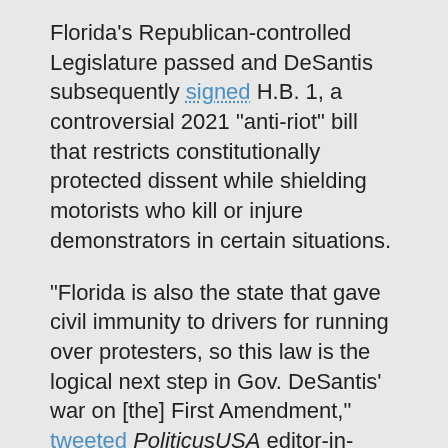Florida's Republican-controlled Legislature passed and DeSantis subsequently signed H.B. 1, a controversial 2021 “anti-riot” bill that restricts constitutionally protected dissent while shielding motorists who kill or injure demonstrators in certain situations.
“Florida is also the state that gave civil immunity to drivers for running over protesters, so this law is the logical next step in Gov. DeSantis’ war on [the] First Amendment,” tweeted PoliticusUSA editor-in-chief Sarah Reese Jones.
Menes said that “the right to peaceful protest is a bedrock American principle that should never be undermined.”
“That’s not the case here in Florida, where we have